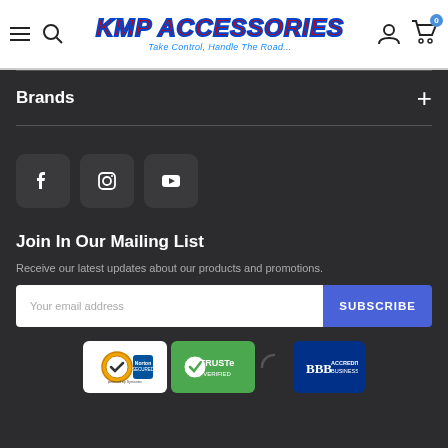KMP ACCESSORIES - Take Control, Handle The Road...
Brands
[Figure (illustration): Social media buttons: Facebook, Instagram, YouTube]
Join In Our Mailing List
Receive our latest updates about our products and promotions.
[Figure (illustration): Email subscription form with 'Your email address' input and 'SUBSCRIBE' button]
[Figure (illustration): Trust badges: Norton Secured powered by Symantec, TRUSTe Verified, BBB Accredited Business]